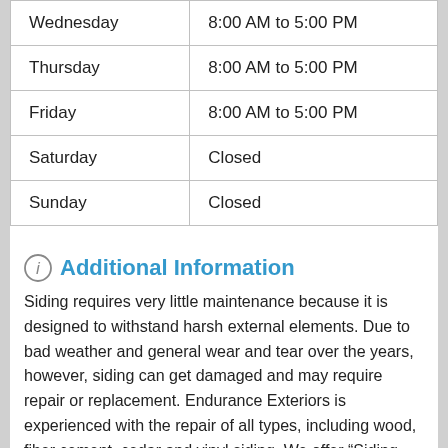| Day | Hours |
| --- | --- |
| Wednesday | 8:00 AM to 5:00 PM |
| Thursday | 8:00 AM to 5:00 PM |
| Friday | 8:00 AM to 5:00 PM |
| Saturday | Closed |
| Sunday | Closed |
Additional Information
Siding requires very little maintenance because it is designed to withstand harsh external elements. Due to bad weather and general wear and tear over the years, however, siding can get damaged and may require repair or replacement. Endurance Exteriors is experienced with the repair of all types, including wood, fiber cement, cedar and vinyl siding. We offer “Siding Repair Services” for those projects that do not require full siding replacement.
New siding refreshes the look of your house and enhances